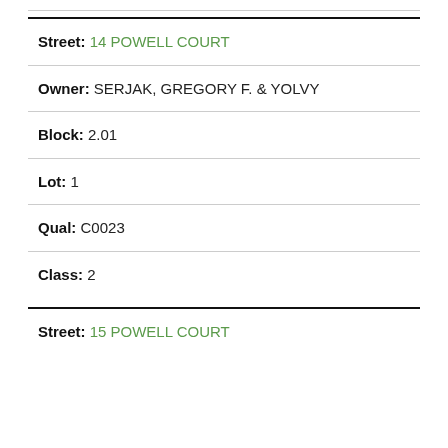Street: 14 POWELL COURT
Owner: SERJAK, GREGORY F. & YOLVY
Block: 2.01
Lot: 1
Qual: C0023
Class: 2
Street: 15 POWELL COURT